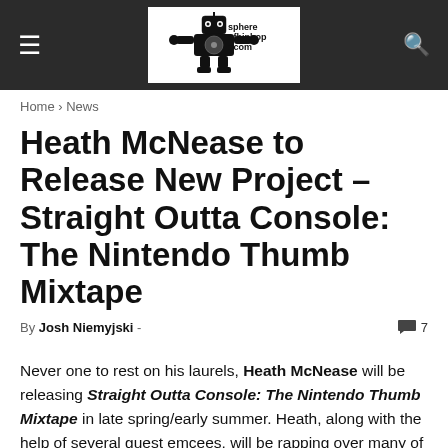sphere of hiphop .com
Home › News
Heath McNease to Release New Project – Straight Outta Console: The Nintendo Thumb Mixtape
By Josh Niemyjski - 💬 7
Never one to rest on his laurels, Heath McNease will be releasing Straight Outta Console: The Nintendo Thumb Mixtape in late spring/early summer. Heath, along with the help of several guest emcees, will be rapping over many of